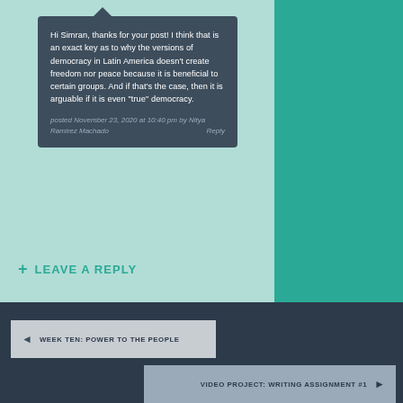Hi Simran, thanks for your post! I think that is an exact key as to why the versions of democracy in Latin America doesn't create freedom nor peace because it is beneficial to certain groups. And if that's the case, then it is arguable if it is even "true" democracy.
posted November 23, 2020 at 10:40 pm by Nitya Ramirez Machado   Reply
+ LEAVE A REPLY
◄ WEEK TEN: POWER TO THE PEOPLE
VIDEO PROJECT: WRITING ASSIGNMENT #1 ►